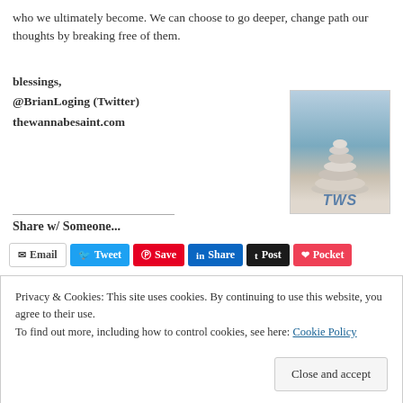who we ultimately become. We can choose to go deeper, change path our thoughts by breaking free of them.
blessings,
@BrianLoging (Twitter)
thewannabesaint.com
[Figure (photo): A stack of balanced zen stones on a beach with sky background, with 'TWS' logo text at the bottom]
Share w/ Someone...
Email | Tweet | Save | Share | Post | Pocket
Privacy & Cookies: This site uses cookies. By continuing to use this website, you agree to their use.
To find out more, including how to control cookies, see here: Cookie Policy
Close and accept